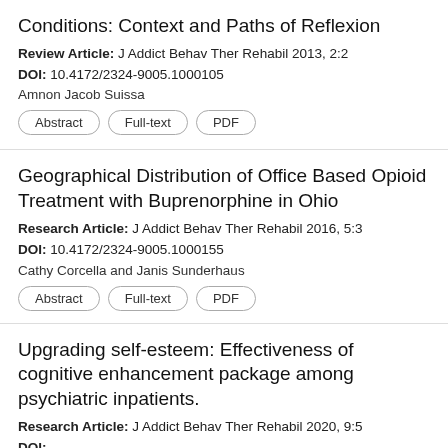Conditions: Context and Paths of Reflexion
Review Article: J Addict Behav Ther Rehabil 2013, 2:2
DOI: 10.4172/2324-9005.1000105
Amnon Jacob Suissa
Geographical Distribution of Office Based Opioid Treatment with Buprenorphine in Ohio
Research Article: J Addict Behav Ther Rehabil 2016, 5:3
DOI: 10.4172/2324-9005.1000155
Cathy Corcella and Janis Sunderhaus
Upgrading self-esteem: Effectiveness of cognitive enhancement package among psychiatric inpatients.
Research Article: J Addict Behav Ther Rehabil 2020, 9:5
DOI:
Ashmita Adhikari, Parul, Kirandeep Dhaliwal, Jyoti Sarin